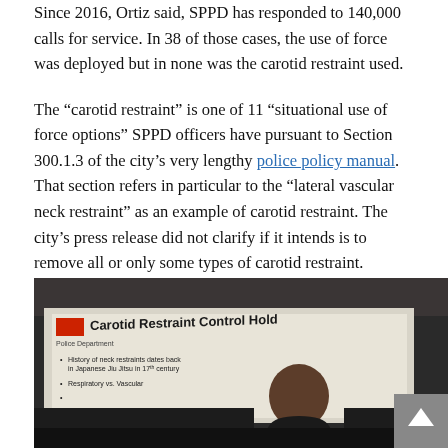Since 2016, Ortiz said, SPPD has responded to 140,000 calls for service. In 38 of those cases, the use of force was deployed but in none was the carotid restraint used.
The “carotid restraint” is one of 11 “situational use of force options” SPPD officers have pursuant to Section 300.1.3 of the city’s very lengthy police policy manual. That section refers in particular to the “lateral vascular neck restraint” as an example of carotid restraint. The city’s press release did not clarify if it intends is to remove all or only some types of carotid restraint.
[Figure (photo): A person seated in front of a projected presentation slide titled 'Carotid Restraint Control Hold' with bullet points about history of neck restraints and respiratory vs. vascular. A police department logo is visible on the slide.]